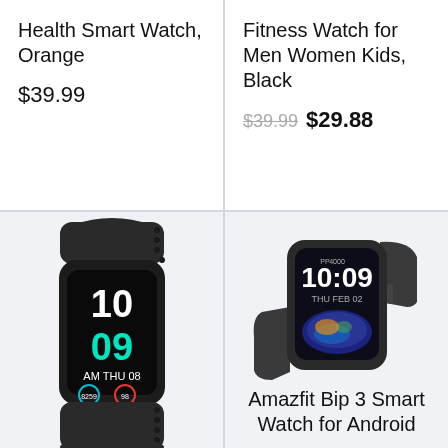Health Smart Watch, Orange
$39.99
Fitness Watch for Men Women Kids, Black
$39.99 $29.88
[Figure (photo): Black fitness tracker/smart band with colorful display showing time 10:09, AM THU 08, steps 8259 and heart rate, with perforated silicone strap]
[Figure (photo): Dark gray Amazfit Bip 3 smartwatch with square display showing 10:09 THU FEB 02 with planet wallpaper, silicone band]
Amazfit Bip 3 Smart Watch for Android